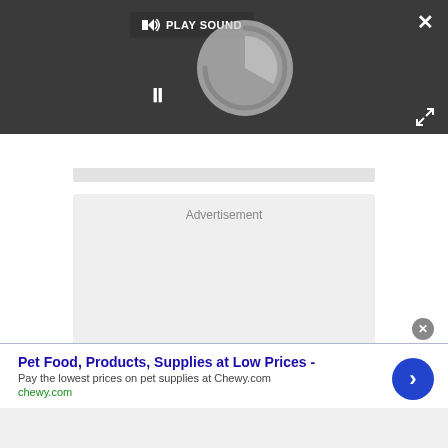[Figure (screenshot): Video player overlay with dark background, loading spinner circle, play sound button, pause button, close X button, and expand button]
Advertisement
Pet Food, Products, Supplies at Low Prices -
Pay the lowest prices on pet supplies at Chewy.com
chewy.com